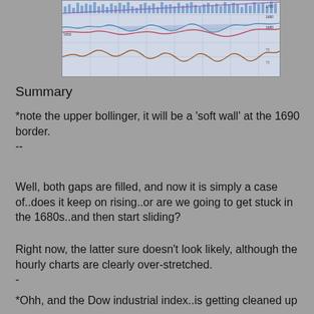[Figure (continuous-plot): Financial chart showing price action with Bollinger Bands, volume bars in blue, and two line curves (pink/red and brown/orange) plotted over a light blue-grey grid background. The upper portion shows volume bars and a rising trend line, the middle shows oscillating lines, and the lower portion shows a wavy price line.]
Summary
*note the upper bollinger, it will be a 'soft wall' at the 1690 border.
--
Well, both gaps are filled, and now it is simply a case of..does it keep on rising..or are we going to get stuck in the 1680s..and then start sliding?
Right now, the latter sure doesn't look likely, although the hourly charts are clearly over-stretched.
-
*Ohh, and the Dow industrial index..is getting cleaned up